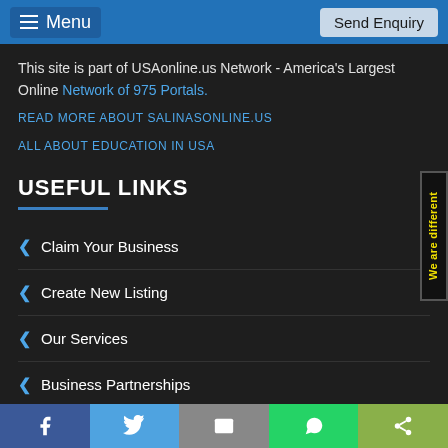Menu | Send Enquiry
This site is part of USAonline.us Network - America's Largest Online Network of 975 Portals.
READ MORE ABOUT SALINASONLINE.US
ALL ABOUT EDUCATION IN USA
USEFUL LINKS
Claim Your Business
Create New Listing
Our Services
Business Partnerships
Facebook | Twitter | Email | WhatsApp | Share